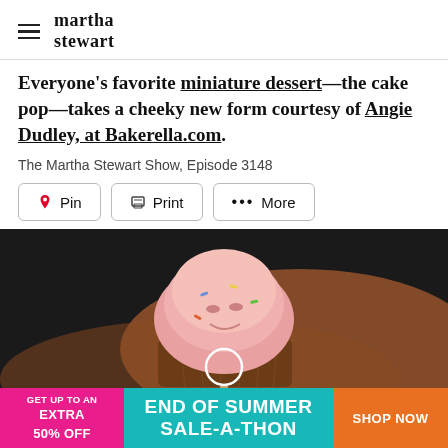martha stewart
Everyone's favorite miniature dessert—the cake pop—takes a cheeky new form courtesy of Angie Dudley, at Bakerella.com.
The Martha Stewart Show, Episode 3148
Pin  Print  ••• More
[Figure (photo): Close-up photo of a cupcake-shaped cake pop with pink frosting and sprinkles, with a play button overlay circle and a blurred warm background.]
[Figure (infographic): Advertisement banner: GET UP TO AN EXTRA 50% OFF | END OF SUMMER SALE-A-THON | SHOP NOW]